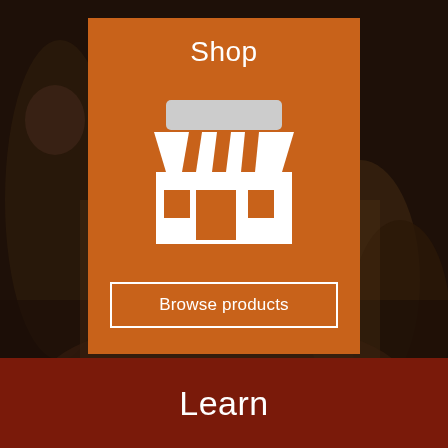[Figure (screenshot): Background photo of people at an event, dark warm tones]
Shop
[Figure (illustration): White storefront/shop icon with awning stripes and door/window]
Browse products
Learn